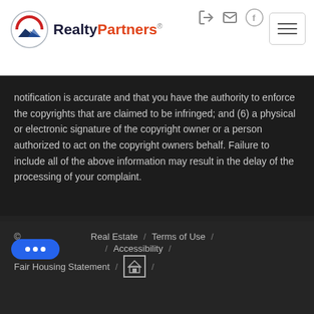[Figure (logo): RealtyPartners logo with mountain/roof icon and company name in navy/red text]
notification is accurate and that you have the authority to enforce the copyrights that are claimed to be infringed; and (6) a physical or electronic signature of the copyright owner or a person authorized to act on the copyright owners behalf. Failure to include all of the above information may result in the delay of the processing of your complaint.
© [obscured] Real Estate / Terms of Use / [Privacy Policy] / Accessibility / Fair Housing Statement / [Equal Housing Logo]